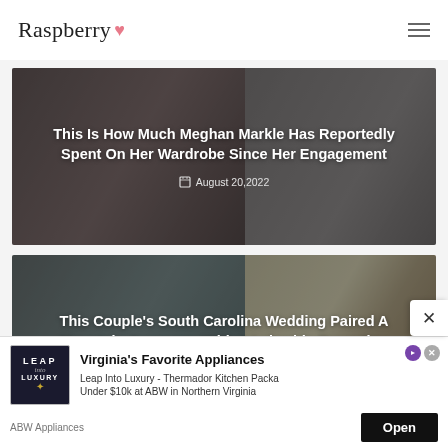Raspberry
[Figure (photo): Article card with photo of a woman smiling, dark overlay, text overlay reading: This Is How Much Meghan Markle Has Reportedly Spent On Her Wardrobe Since Her Engagement. Date: August 20, 2022]
[Figure (photo): Article card with photo of a mountain/lakeside wedding scene with floral arrangements, dark overlay, text overlay reading: This Couple's South Carolina Wedding Paired A Mountain Ceremony With A Lakeside Reception. Date: August 20, 2022]
[Figure (infographic): Advertisement overlay for ABW Appliances / Leap Into Luxury - Virginia's Favorite Appliances. Leap Into Luxury - Thermador Kitchen Packages Under $10k at ABW in Northern Virginia. Open button visible.]